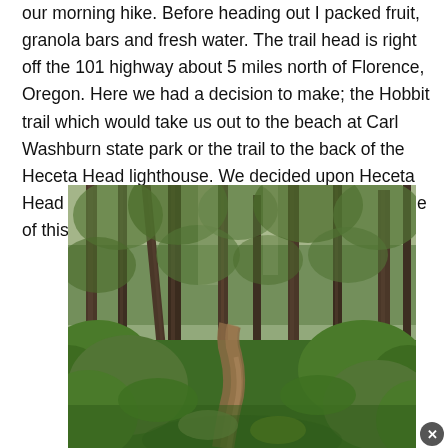our morning hike. Before heading out I packed fruit, granola bars and fresh water. The trail head is right off the 101 highway about 5 miles north of Florence, Oregon. Here we had a decision to make; the Hobbit trail which would take us out to the beach at Carl Washburn state park or the trail to the back of the Heceta Head lighthouse. We decided upon Heceta Head as you probably already figured out by the title of this post.
[Figure (photo): A forest trail through tall conifer trees with lush green undergrowth, a narrow dirt path visible in the lower center of the image.]